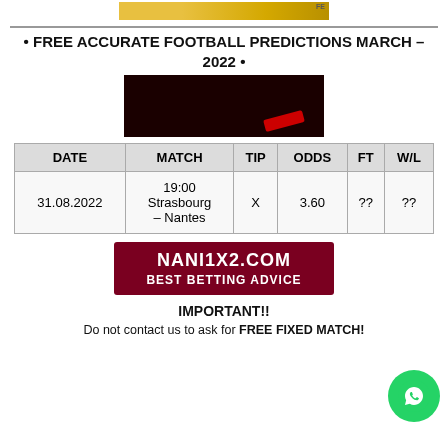[Figure (photo): Partial top image with yellow/gold gradient background]
• FREE ACCURATE FOOTBALL PREDICTIONS MARCH – 2022 •
[Figure (photo): Dark red/black dramatic background image]
| DATE | MATCH | TIP | ODDS | FT | W/L |
| --- | --- | --- | --- | --- | --- |
| 31.08.2022 | 19:00
Strasbourg – Nantes | X | 3.60 | ?? | ?? |
[Figure (logo): Dark red banner with NANI1X2.COM BEST BETTING ADVICE]
IMPORTANT!!
Do not contact us to ask for FREE FIXED MATCH!